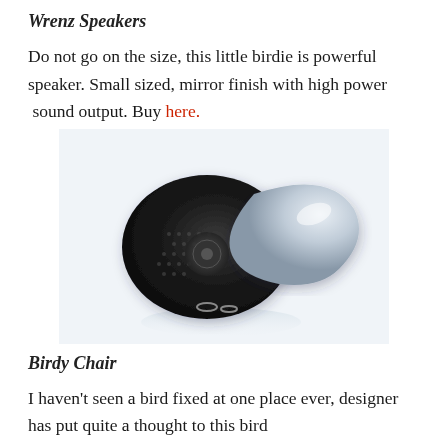Wrenz Speakers
Do not go on the size, this little birdie is powerful speaker. Small sized, mirror finish with high power  sound output. Buy here.
[Figure (photo): A bird-shaped Bluetooth speaker with a dark mesh grille body and glossy white tail, photographed on a white background with a subtle reflection below.]
Birdy Chair
I haven't seen a bird fixed at one place ever, designer has put quite a thought to this bird